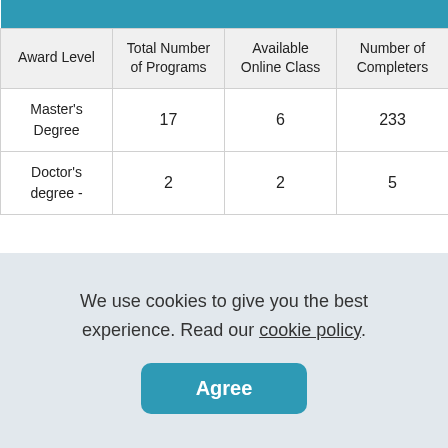| Award Level | Total Number of Programs | Available Online Class | Number of Completers |
| --- | --- | --- | --- |
| Master's Degree | 17 | 6 | 233 |
| Doctor's degree - | 2 | 2 | 5 |
We use cookies to give you the best experience. Read our cookie policy.